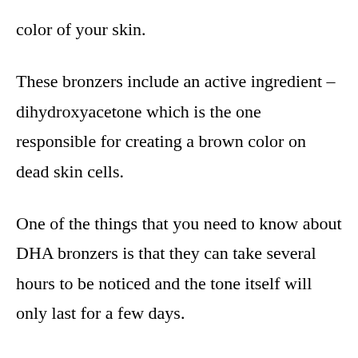color of your skin.
These bronzers include an active ingredient – dihydroxyacetone which is the one responsible for creating a brown color on dead skin cells.
One of the things that you need to know about DHA bronzers is that they can take several hours to be noticed and the tone itself will only last for a few days.